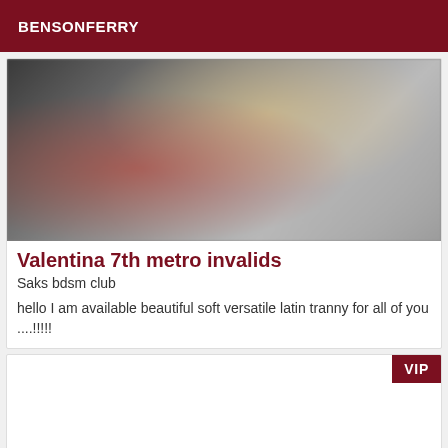BENSONFERRY
[Figure (photo): Blurred/obscured photo of a person in a red outfit with blonde hair]
Valentina 7th metro invalids
Saks bdsm club
hello I am available beautiful soft versatile latin tranny for all of you ....!!!!!
[Figure (other): Second listing card with VIP badge, image area blank/loading]